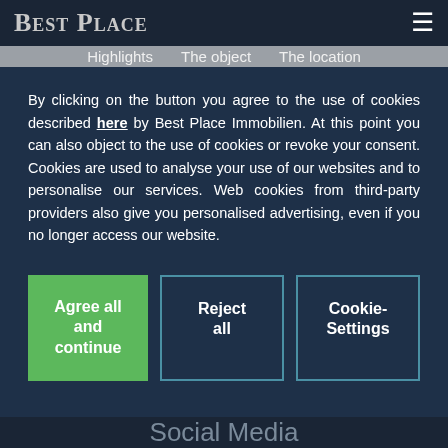Best Place
Highlights   The object   The location
By clicking on the button you agree to the use of cookies described here by Best Place Immobilien. At this point you can also object to the use of cookies or revoke your consent. Cookies are used to analyse your use of our websites and to personalise our services. Web cookies from third-party providers also give you personalised advertising, even if you no longer access our website.
Agree all and continue
Reject all
Cookie-Settings
Social Media